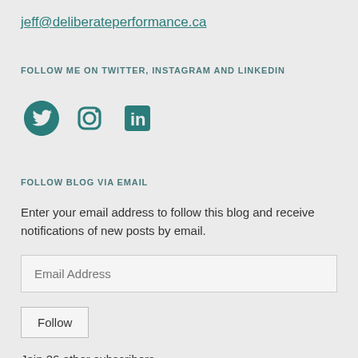jeff@deliberateperformance.ca
FOLLOW ME ON TWITTER, INSTAGRAM AND LINKEDIN
[Figure (infographic): Three social media icons: Twitter bird, Instagram camera, LinkedIn 'in' logo, in teal color.]
FOLLOW BLOG VIA EMAIL
Enter your email address to follow this blog and receive notifications of new posts by email.
Email Address
Follow
Join 26 other subscribers